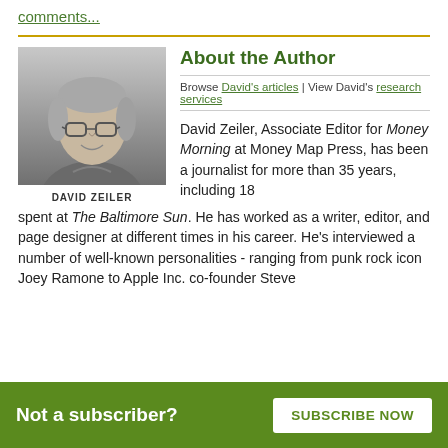comments...
About the Author
[Figure (photo): Black and white headshot photo of David Zeiler, a middle-aged man with glasses and short grey hair, smiling. Caption reads DAVID ZEILER.]
Browse David's articles | View David's research services
David Zeiler, Associate Editor for Money Morning at Money Map Press, has been a journalist for more than 35 years, including 18 spent at The Baltimore Sun. He has worked as a writer, editor, and page designer at different times in his career. He's interviewed a number of well-known personalities - ranging from punk rock icon Joey Ramone to Apple Inc. co-founder Steve
Not a subscriber? SUBSCRIBE NOW